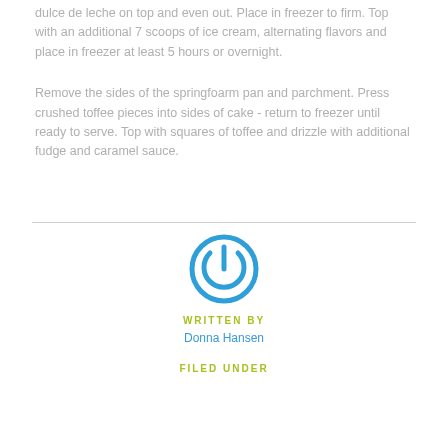dulce de leche on top and even out. Place in freezer to firm. Top with an additional 7 scoops of ice cream, alternating flavors and place in freezer at least 5 hours or overnight.
Remove the sides of the springfoarm pan and parchment. Press crushed toffee pieces into sides of cake - return to freezer until ready to serve. Top with squares of toffee and drizzle with additional fudge and caramel sauce.
WRITTEN BY
Donna Hansen
FILED UNDER